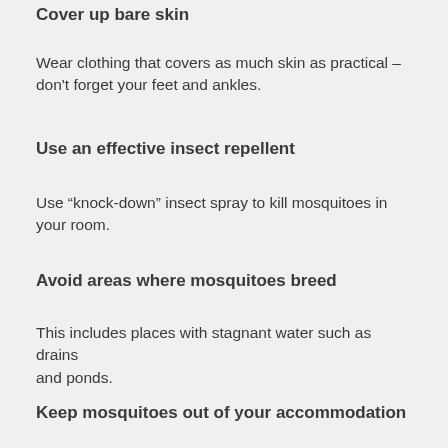Cover up bare skin
Wear clothing that covers as much skin as practical – don't forget your feet and ankles.
Use an effective insect repellent
Use “knock-down” insect spray to kill mosquitoes in your room.
Avoid areas where mosquitoes breed
This includes places with stagnant water such as drains and ponds.
Keep mosquitoes out of your accommodation